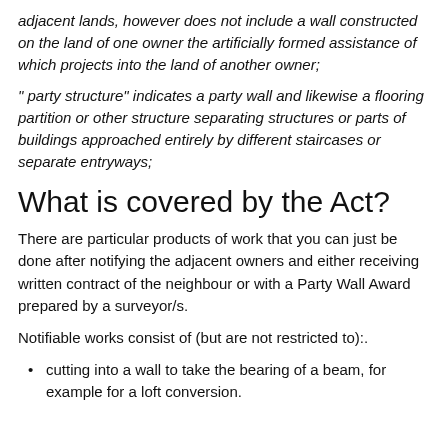adjacent lands, however does not include a wall constructed on the land of one owner the artificially formed assistance of which projects into the land of another owner;
" party structure" indicates a party wall and likewise a flooring partition or other structure separating structures or parts of buildings approached entirely by different staircases or separate entryways;
What is covered by the Act?
There are particular products of work that you can just be done after notifying the adjacent owners and either receiving written contract of the neighbour or with a Party Wall Award prepared by a surveyor/s.
Notifiable works consist of (but are not restricted to):.
cutting into a wall to take the bearing of a beam, for example for a loft conversion.